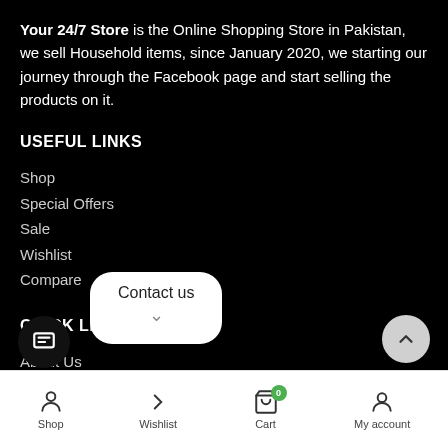Your 24/7 Store is the Online Shopping Store in Pakistan, we sell Household items, since January 2020, we starting our journey through the Facebook page and start selling the products on it.
USEFUL LINKS
Shop
Special Offers
Sale
Wishlist
Compare
QUICK LINKS
About Us
Privacy Policy
Tra...ler
Shop  Wishlist  Cart  My account